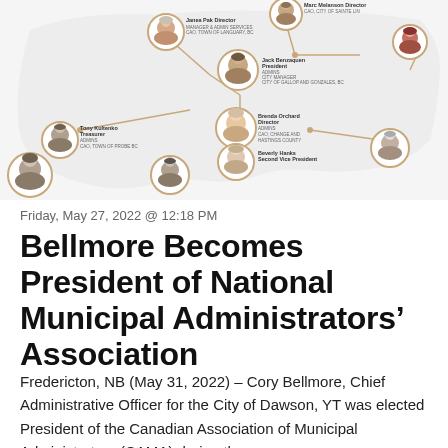[Figure (organizational-chart): Map of Canada with circular headshot photos of CAMA board members connected by lines indicating their geographic locations. Members shown include Janea Pak Director, Marc Melanson Director, Jack Benzaquen President, Tony Kultenko Treasurer, Brenda Orchard Director, Beverly Hanks Second Vice President, and others.]
Friday, May 27, 2022 @ 12:18 PM
Bellmore Becomes President of National Municipal Administrators' Association
Fredericton, NB (May 31, 2022) – Cory Bellmore, Chief Administrative Officer for the City of Dawson, YT was elected President of the Canadian Association of Municipal Administrators (CAMA) during the